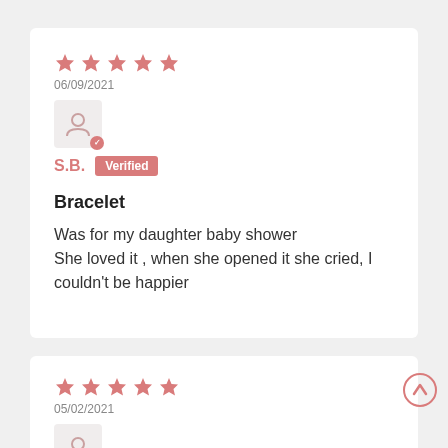[Figure (other): Five red/pink star rating icons]
06/09/2021
[Figure (other): User avatar icon with verified checkmark badge]
S.B.  Verified
Bracelet
Was for my daughter baby shower
She loved it , when she opened it she cried, I couldn't be happier
[Figure (other): Five red/pink star rating icons]
05/02/2021
[Figure (other): User avatar icon with verified checkmark badge]
[Figure (other): Scroll-up circular arrow button]